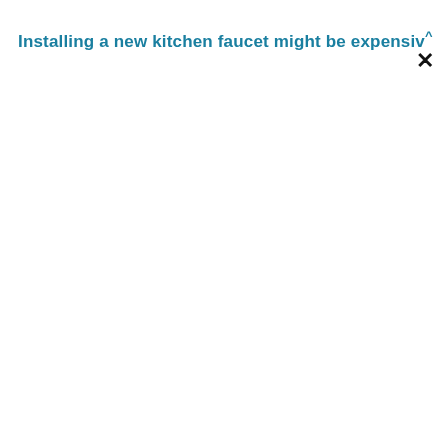Installing a new kitchen faucet might be expensivˆ